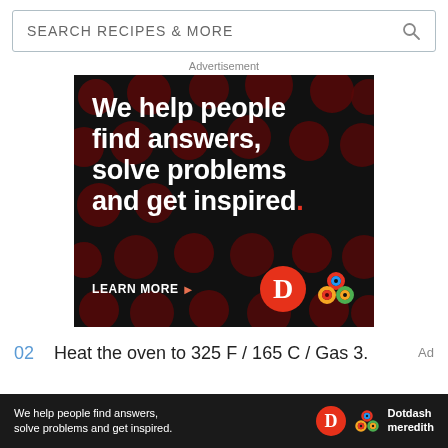SEARCH RECIPES & MORE
Advertisement
[Figure (illustration): Dotdash Meredith advertisement banner on black background with dark red polka dots. Text reads: 'We help people find answers, solve problems and get inspired.' with a red period. 'LEARN MORE' with arrow. Dotdash D logo in red circle and Meredith colorful knot logo.]
02  Heat the oven to 325 F / 165 C / Gas 3.
[Figure (illustration): Bottom ad bar: 'We help people find answers, solve problems and get inspired.' with Dotdash D logo and Dotdash meredith text logo.]